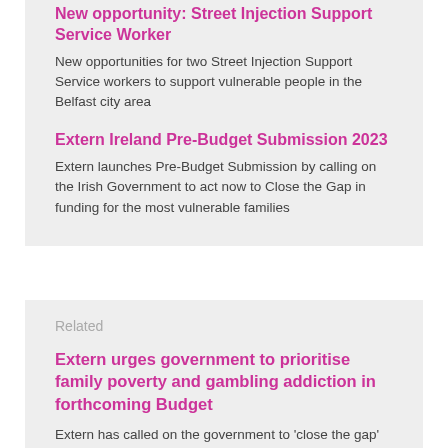New opportunity: Street Injection Support Service Worker
New opportunities for two Street Injection Support Service workers to support vulnerable people in the Belfast city area
Extern Ireland Pre-Budget Submission 2023
Extern launches Pre-Budget Submission by calling on the Irish Government to act now to Close the Gap in funding for the most vulnerable families
Related
Extern urges government to prioritise family poverty and gambling addiction in forthcoming Budget
Extern has called on the government to 'close the gap' in funding for services for the most vulnerable families